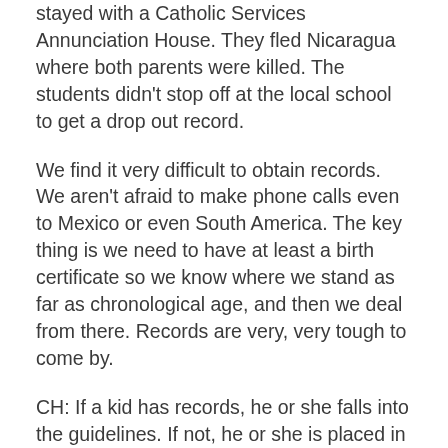stayed with a Catholic Services Annunciation House. They fled Nicaragua where both parents were killed. The students didn't stop off at the local school to get a drop out record.
We find it very difficult to obtain records. We aren't afraid to make phone calls even to Mexico or even South America. The key thing is we need to have at least a birth certificate so we know where we stand as far as chronological age, and then we deal from there. Records are very, very tough to come by.
CH: If a kid has records, he or she falls into the guidelines. If not, he or she is placed in a chronologically age appropriate grade level.